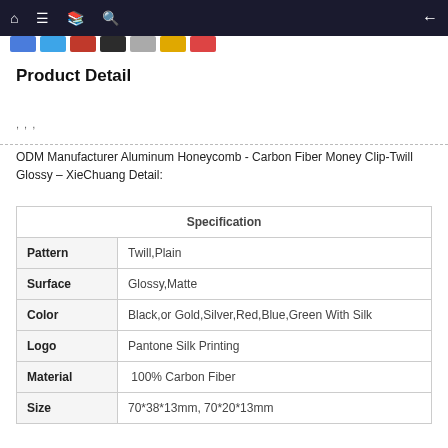Navigation bar with home, menu, book, search icons and back arrow
, , ,
Product Detail
ODM Manufacturer Aluminum Honeycomb - Carbon Fiber Money Clip- Twill Glossy – XieChuang Detail:
| Specification |
| --- |
| Pattern | Twill,Plain |
| Surface | Glossy,Matte |
| Color | Black,or Gold,Silver,Red,Blue,Green With Silk |
| Logo | Pantone Silk Printing |
| Material | 100% Carbon Fiber |
| Size | 70*38*13mm, 70*20*13mm |